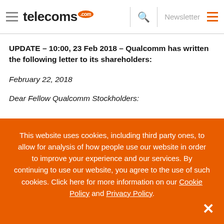telecoms.com — Newsletter
UPDATE – 10:00, 23 Feb 2018 – Qualcomm has written the following letter to its shareholders:
February 22, 2018
Dear Fellow Qualcomm Stockholders:
This website uses cookies, including third party ones, to allow for analysis of how people use our website in order to improve your experience and our services. By continuing to use our website, you agree to the use of such cookies. Click here for more information on our Cookie Policy and Privacy Policy.